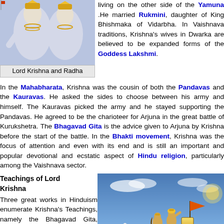[Figure (photo): Photo of Lord Krishna and Radha statues/idols in white and gold ornaments]
Lord Krishna and Radha
living on the other side of the Yamuna .He married Rukmini, daughter of King Bhishmaka of Vidarbha. In Vaishnava traditions, Krishna's wives in Dwarka are believed to be expanded forms of the Goddess Lakshmi.
In the Mahabharata, Krishna was the cousin of both the Pandavas and the Kauravas. He asked the sides to choose between his army and himself. The Kauravas picked the army and he stayed supporting the Pandavas. He agreed to be the charioteer for Arjuna in the great battle of Kurukshetra. The Bhagavad Gita is the advice given to Arjuna by Krishna before the start of the battle. In the Bhakti movement, Krishna was the focus of attention and even with its end and is still an important and popular devotional and ecstatic aspect of Hindu religion, particularly among the Vaishnava sector.
Teachings of Lord Krishna
Three great works in Hinduism enumerate Krishna's Teachings, namely the Bhagavad Gita, Anugita and Udhavagita. Bhagwad Gita is the sacred Book depicting 'Mahabharata' for Hindus. The advice Lord
[Figure (illustration): Artistic illustration of Krishna as charioteer with Arjuna on a white horse chariot, painted scene from the Mahabharata/Bhagavad Gita]